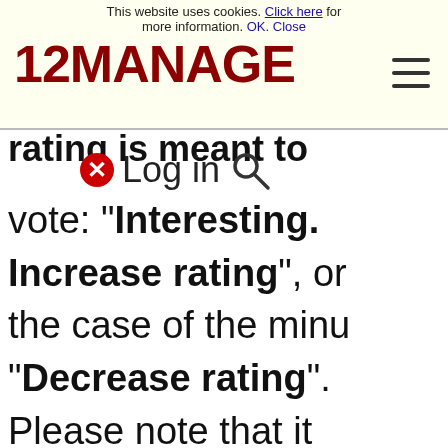This website uses cookies. Click here for more information. OK. Close
[Figure (logo): 12MANAGE logo in dark red bold text with hamburger menu icon]
rating is meant to vote: "Interesting. Increase rating", or the case of the minu "Decrease rating". Please note that it does NOT say: Like
[Figure (screenshot): Log in overlay with X close button and search icon]